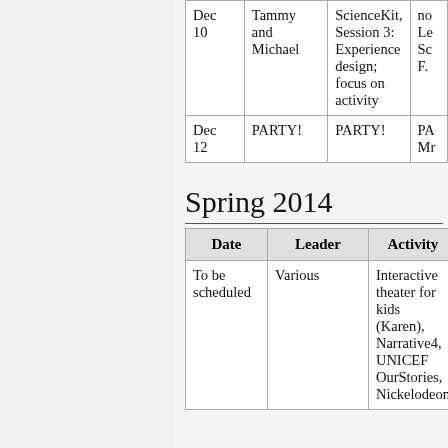| Date | Leader | Activity |  |
| --- | --- | --- | --- |
| Dec 10 | Tammy and Michael | ScienceKit, Session 3: Experience design; focus on activity | no Le Sc F. |
| Dec 12 | PARTY! | PARTY! | PA Mr |
Spring 2014
| Date | Leader | Activity |
| --- | --- | --- |
| To be scheduled | Various | Interactive theater for kids (Karen), Narrative4, UNICEF OurStories, Nickelodeon |